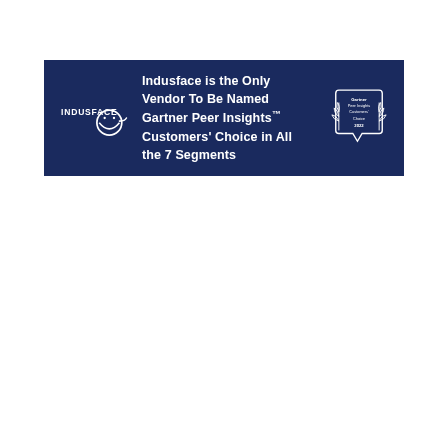[Figure (logo): Dark navy blue banner with Indusface logo on the left, bold white text in the center reading 'Indusface is the Only Vendor To Be Named Gartner Peer Insights™ Customers' Choice in All the 7 Segments', and a Gartner Peer Insights Customers' Choice 2022 badge on the right.]